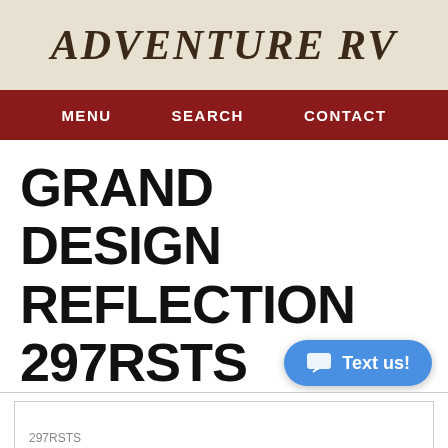ADVENTURE RV
MENU   SEARCH   CONTACT
GRAND DESIGN REFLECTION 297RSTS TRAVEL TRAILER FOR SALE
297RSTS